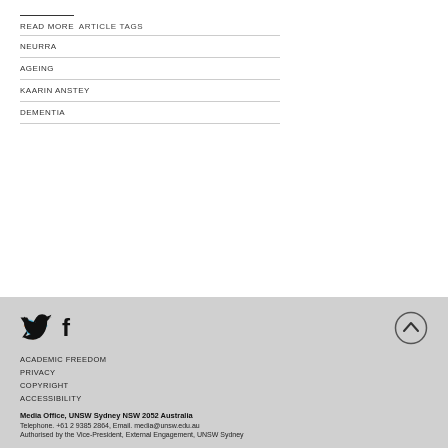READ MORE
ARTICLE TAGS
NEURRA
AGEING
KAARIN ANSTEY
DEMENTIA
[Figure (illustration): Twitter and Facebook social media icons, and an up-arrow circle button]
ACADEMIC FREEDOM
PRIVACY
COPYRIGHT
ACCESSIBILITY

Media Office, UNSW Sydney NSW 2052 Australia
Telephone. +61 2 9385 2864, Email. media@unsw.edu.au
Authorised by the Vice-President, External Engagement, UNSW Sydney